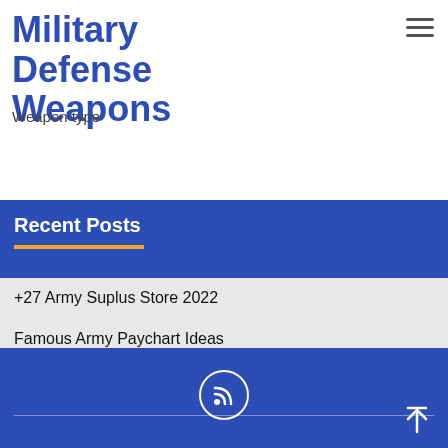Military Defense Weapons
Weapon type
Recent Posts
+27 Army Suplus Store 2022
Famous Army Paychart Ideas
Review Of Beretta Army Pistol References
List Of Army Veteran Logo 2022
Awasome Army Base Near San Antonio 2022
RSS feed icon and back-to-top arrow